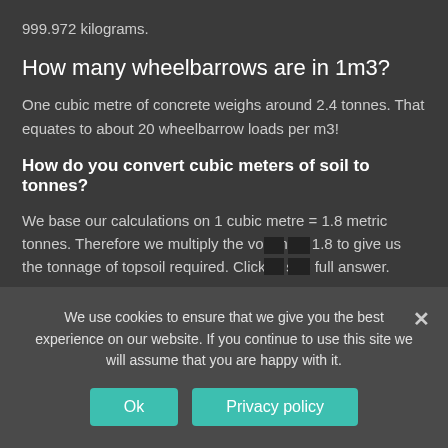999.972 kilograms.
How many wheelbarrows are in 1m3?
One cubic metre of concrete weighs around 2.4 tonnes. That equates to about 20 wheelbarrow loads per m3!
How do you convert cubic meters of soil to tonnes?
We base our calculations on 1 cubic metre = 1.8 metric tonnes. Therefore we multiply the volume x 1.8 to give us the tonnage of topsoil required. Click to see full answer.
How much does a cubic meter of topsoil weigh?
We use cookies to ensure that we give you the best experience on our website. If you continue to use this site we will assume that you are happy with it.